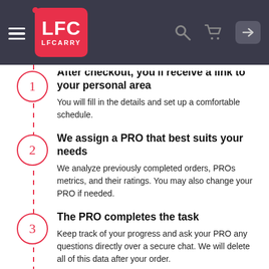LFC LFCARRY navigation bar
After checkout, you'll receive a link to your personal area. You will fill in the details and set up a comfortable schedule.
We assign a PRO that best suits your needs. We analyze previously completed orders, PROs metrics, and their ratings. You may also change your PRO if needed.
The PRO completes the task. Keep track of your progress and ask your PRO any questions directly over a secure chat. We will delete all of this data after your order.
You check everything and confirm the service is done. Your PRO will get paid only then. If anything, our 24/7 support